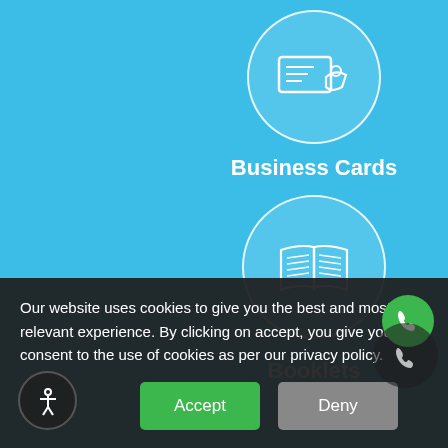[Figure (screenshot): Website UI screenshot showing two product category icons on a light blue background. Top section shows a 'Business Cards' icon (circle with business card illustration) and label. Below is a 'Booklets' icon (circle with open book illustration) and label. A cookie consent banner overlays the bottom portion with Accept and Deny buttons.]
Business Cards
Booklets
Our website uses cookies to give you the best and most relevant experience. By clicking on accept, you give your consent to the use of cookies as per our privacy policy.